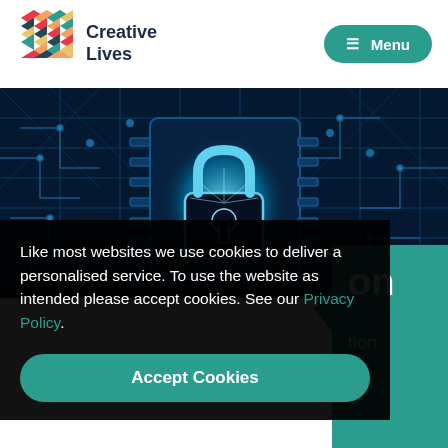Creative Lives | Menu
[Figure (photo): Close-up photo of a circuit board with a glowing blue padlock in the center, representing digital security and data protection.]
Like most websites we use cookies to deliver a personalised service. To use the website as intended please accept cookies. See our Privacy Policy.
on
tion
Accept Cookies